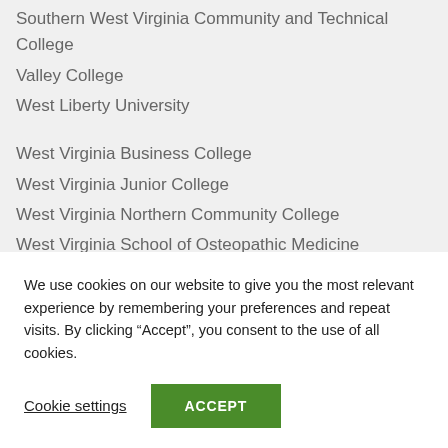Southern West Virginia Community and Technical College
Valley College
West Liberty University
West Virginia Business College
West Virginia Junior College
West Virginia Northern Community College
West Virginia School of Osteopathic Medicine
West Virginia State University
West Virginia University
West Virginia University Institute of Technology
We use cookies on our website to give you the most relevant experience by remembering your preferences and repeat visits. By clicking “Accept”, you consent to the use of all cookies.
Cookie settings
ACCEPT